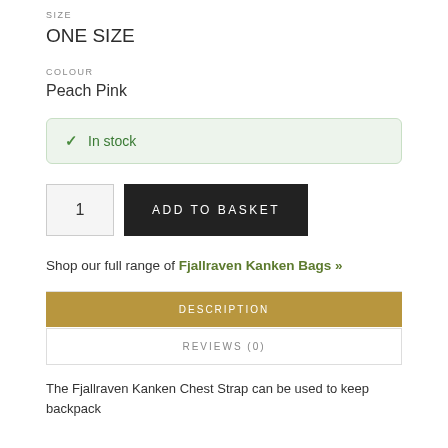SIZE
ONE SIZE
COLOUR
Peach Pink
✓ In stock
1   ADD TO BASKET
Shop our full range of Fjallraven Kanken Bags »
DESCRIPTION
REVIEWS (0)
The Fjallraven Kanken Chest Strap can be used to keep backpack